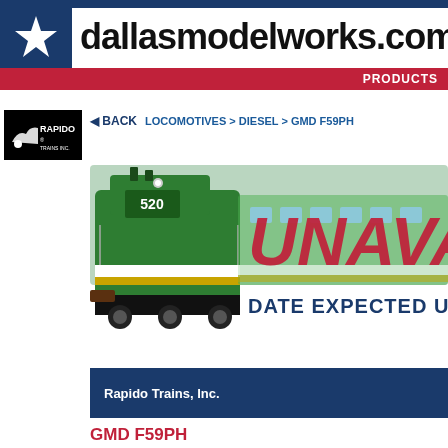dallasmodelworks.com | PRODUCTS
[Figure (logo): Rapido Trains Inc. logo — black rectangle with white Rapido wordmark and stylized locomotive silhouette]
◄ BACK   LOCOMOTIVES > DIESEL > GMD F59PH
[Figure (illustration): Green GMD F59PH locomotive numbered 520 with white and gold stripes, shown from front-side angle. Overlaid with large red italic 'UNAVAIL...' text and dark blue 'DATE EXPECTED U...' text]
Rapido Trains, Inc.
GMD F59PH
(LokSound and DCC) (As-Deliv...